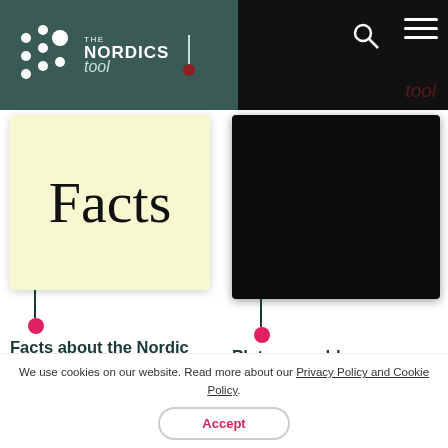THE NORDICS tool
[Figure (logo): The Nordics Tool logo with dot pattern and text on dark teal background]
[Figure (screenshot): Dark navy/black panel with 'tool' text in dark red, search icon, and hamburger menu]
[Figure (screenshot): Light yellow card with large 'Facts' text in serif font]
Facts about the Nordic Countries
Other tools
[Figure (screenshot): Dark/black card image placeholder]
Plate, navy blue
Backgrounds
We use cookies on our website. Read more about our Privacy Policy and Cookie Policy.
Accept